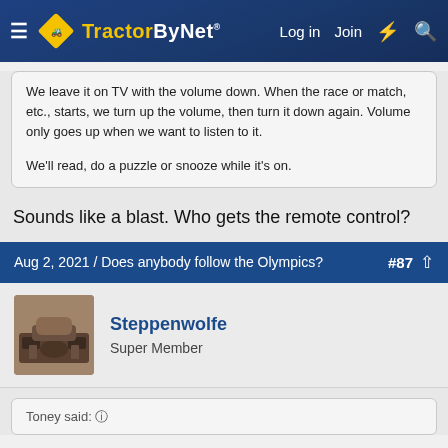TractorByNet — Log in  Join
We leave it on TV with the volume down. When the race or match, etc., starts, we turn up the volume, then turn it down again. Volume only goes up when we want to listen to it.

We'll read, do a puzzle or snooze while it's on.
Sounds like a blast. Who gets the remote control?
Aug 2, 2021 / Does anybody follow the Olympics?  #87
Steppenwolfe
Super Member
Toney said: